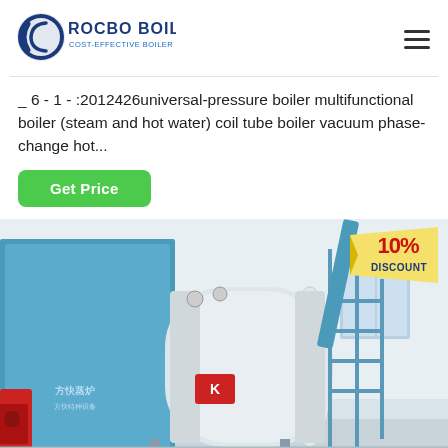[Figure (logo): Rocbo Boiler logo — circular C-shape emblem in blue with text ROCBO BOILER in dark blue bold and COST-EFFECTIVE BOILER SUPPLIER in blue below]
_ 6 - 1 - :2012426universal-pressure boiler multifunctional boiler (steam and hot water) coil tube boiler vacuum phase-change hot...
Get Price
[Figure (photo): Industrial boiler installation in a factory building. A large blue rectangular boiler unit is on the left with a red burner attached. A large white cylindrical horizontal pressure vessel sits on supports in the center-right. Blue steel pipe framework and walkways surround it. The facility has white walls and windows. A 10% DISCOUNT badge is overlaid in the top-right corner of the image.]